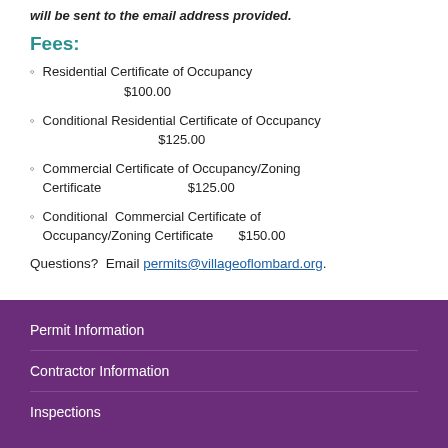will be sent to the email address provided.
Fees:
Residential Certificate of Occupancy $100.00
Conditional Residential Certificate of Occupancy $125.00
Commercial Certificate of Occupancy/Zoning Certificate $125.00
Conditional Commercial Certificate of Occupancy/Zoning Certificate $150.00
Questions? Email permits@villageoflombard.org.
Permit Information
Contractor Information
Inspections